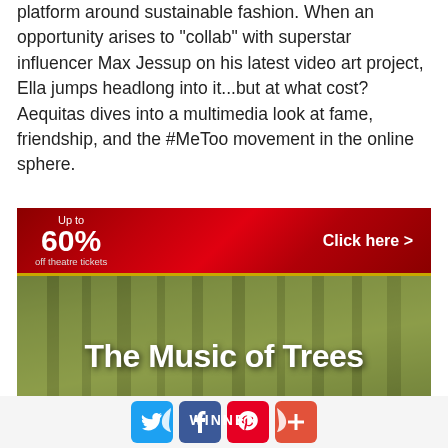platform around sustainable fashion. When an opportunity arises to "collab" with superstar influencer Max Jessup on his latest video art project, Ella jumps headlong into it...but at what cost?Aequitas dives into a multimedia look at fame, friendship, and the #MeToo movement in the online sphere.
[Figure (other): Advertisement banner for theatre tickets - 'Up to 60% off theatre tickets, Click here >' with red curtain background, followed by image for 'The Music of Trees' production with forest background and WINNER text with laurel leaves]
[Figure (other): Social media share buttons: Twitter (blue bird), Facebook (blue f), Pinterest (red p), and a red plus/more button]